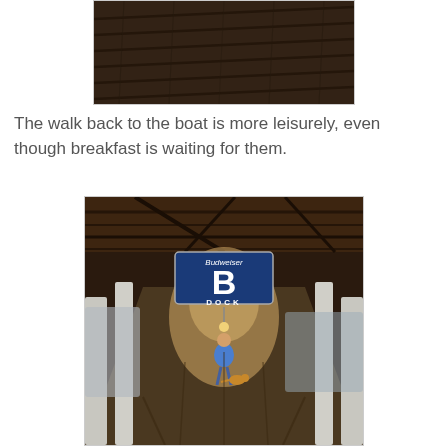[Figure (photo): Close-up photo of dark wooden deck planks, viewed from above at an angle, showing the grain and texture of weathered wood boards.]
The walk back to the boat is more leisurely, even though breakfast is waiting for them.
[Figure (photo): Photo of a covered marina dock (B Dock) with a blue Budweiser B Dock sign hanging overhead. A person in a blue shirt walks away down the dock with a dog, surrounded by boat slips with white posts on either side.]